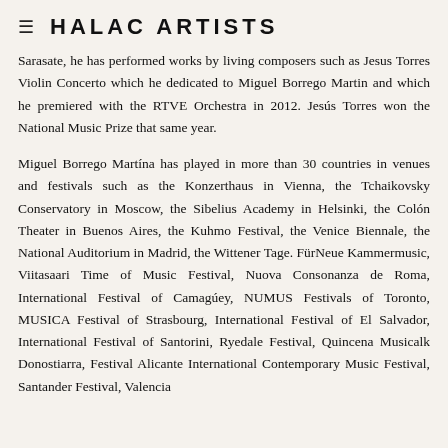≡  HALAC ARTISTS
Sarasate, he has performed works by living composers such as Jesus Torres Violin Concerto which he dedicated to Miguel Borrego Martin and which he premiered with the RTVE Orchestra in 2012. Jesús Torres won the National Music Prize that same year.
Miguel Borrego Martína has played in more than 30 countries in venues and festivals such as the Konzerthaus in Vienna, the Tchaikovsky Conservatory in Moscow, the Sibelius Academy in Helsinki, the Colón Theater in Buenos Aires, the Kuhmo Festival, the Venice Biennale, the National Auditorium in Madrid, the Wittener Tage. FürNeue Kammermusic, Viitasaari Time of Music Festival, Nuova Consonanza de Roma, International Festival of Camagúey, NUMUS Festivals of Toronto, MUSICA Festival of Strasbourg, International Festival of El Salvador, International Festival of Santorini, Ryedale Festival, Quincena Musicalk Donostiarra, Festival Alicante International Contemporary Music Festival, Santander Festival, Valencia